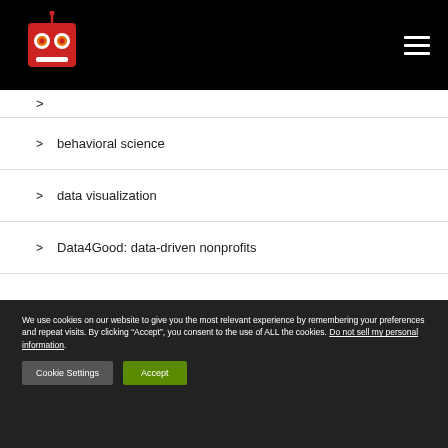Robot logo and navigation header
> behavioral science
> data visualization
> Data4Good: data-driven nonprofits
We use cookies on our website to give you the most relevant experience by remembering your preferences and repeat visits. By clicking “Accept”, you consent to the use of ALL the cookies. Do not sell my personal information.